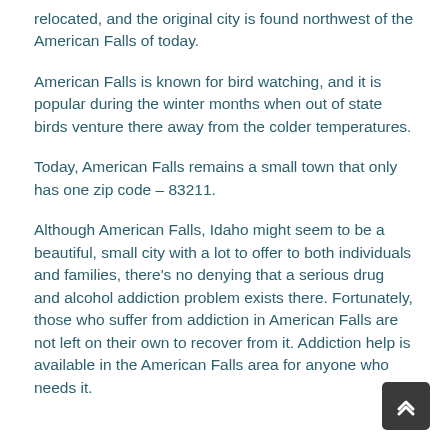relocated, and the original city is found northwest of the American Falls of today.
American Falls is known for bird watching, and it is popular during the winter months when out of state birds venture there away from the colder temperatures.
Today, American Falls remains a small town that only has one zip code – 83211.
Although American Falls, Idaho might seem to be a beautiful, small city with a lot to offer to both individuals and families, there's no denying that a serious drug and alcohol addiction problem exists there. Fortunately, those who suffer from addiction in American Falls are not left on their own to recover from it. Addiction help is available in the American Falls area for anyone who needs it.